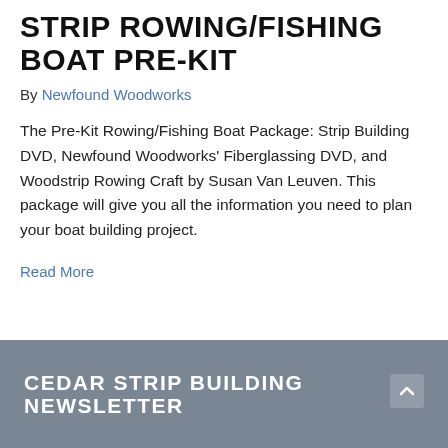STRIP ROWING/FISHING BOAT PRE-KIT
By Newfound Woodworks
The Pre-Kit Rowing/Fishing Boat Package: Strip Building DVD, Newfound Woodworks' Fiberglassing DVD, and Woodstrip Rowing Craft by Susan Van Leuven. This package will give you all the information you need to plan your boat building project.
Read More
CEDAR STRIP BUILDING NEWSLETTER